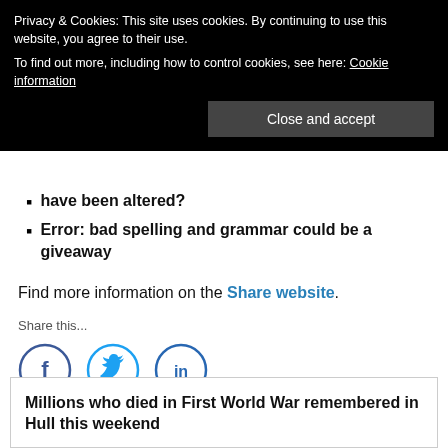Source: check the information is from a trusted [source] — have been altered?
Error: bad spelling and grammar could be a giveaway
Privacy & Cookies: This site uses cookies. By continuing to use this website, you agree to their use. To find out more, including how to control cookies, see here: Cookie information
Find more information on the Share website.
Share this...
[Figure (infographic): Social media share icons: Facebook (circle with f), Twitter (circle with bird), LinkedIn (circle with in)]
Millions who died in First World War remembered in Hull this weekend